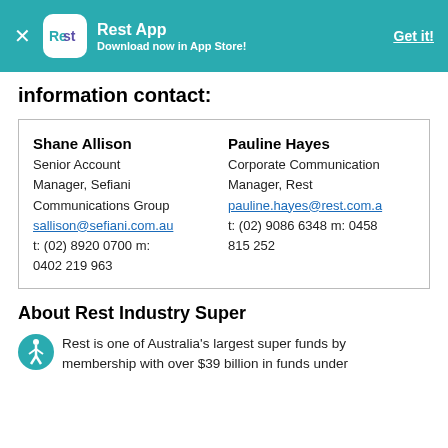[Figure (logo): Rest App promotional banner with teal background, Rest logo icon, app title 'Rest App', subtitle 'Download now in App Store!', and 'Get it!' link]
information contact:
| Shane Allison
Senior Account Manager, Sefiani Communications Group
sallison@sefiani.com.au
t: (02) 8920 0700 m: 0402 219 963 | Pauline Hayes
Corporate Communications Manager, Rest
pauline.hayes@rest.com.au
t: (02) 9086 6348 m: 0458 815 252 |
About Rest Industry Super
Rest is one of Australia's largest super funds by membership with over $39 billion in funds under